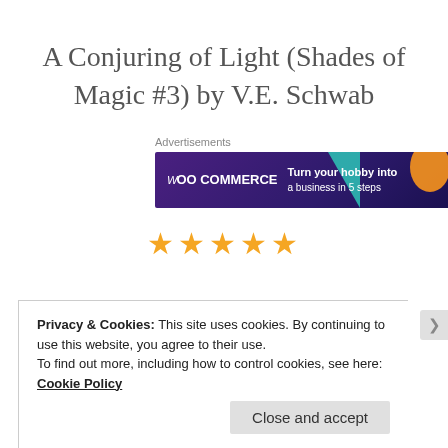A Conjuring of Light (Shades of Magic #3) by V.E. Schwab
[Figure (advertisement): WooCommerce advertisement banner with dark purple background, teal triangle shape, orange circle shape, and text 'Turn your hobby into a business in 5 steps']
[Figure (other): Five orange star rating icons]
Privacy & Cookies: This site uses cookies. By continuing to use this website, you agree to their use.
To find out more, including how to control cookies, see here: Cookie Policy
Close and accept